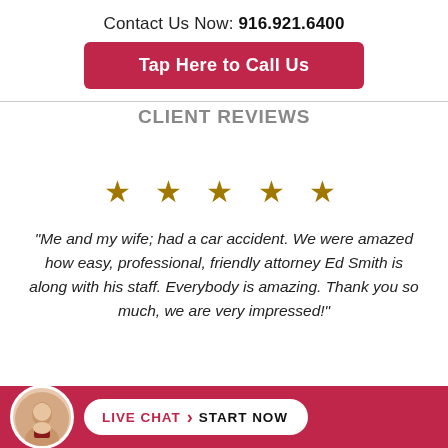Contact Us Now: 916.921.6400
Tap Here to Call Us
Client Reviews
[Figure (other): Five gold stars rating]
"Me and my wife; had a car accident. We were amazed how easy, professional, friendly attorney Ed Smith is along with his staff. Everybody is amazing. Thank you so much, we are very impressed!"
LIVE CHAT › START NOW